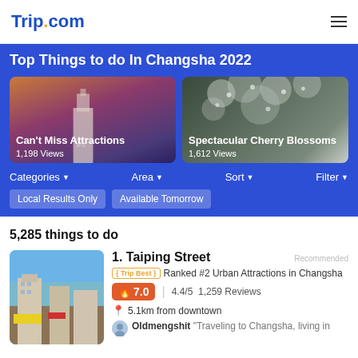Trip.com
Top Things to do In Changsha 2022
[Figure (photo): Card showing city attraction at sunset with IFS building. Text: Can't Miss Attractions, 1,198 Views]
[Figure (photo): Card showing cherry blossoms on tree. Text: Spectacular Cherry Blossoms, 1,612 Views]
Categories ▼   Area ▼   Sort ▼   Filter ▼
Local Results Only   Available Tomorrow
5,285 things to do
[Figure (photo): Photo of Taiping Street showing buildings and street signs]
1. Taiping Street
Recommended
{ Trip Best } Ranked #2 Urban Attractions in Changsha
🔥7.0  |  4.4/5  1,259 Reviews
📍 5.1km from downtown
Oldmengshit "Traveling to Changsha, living in